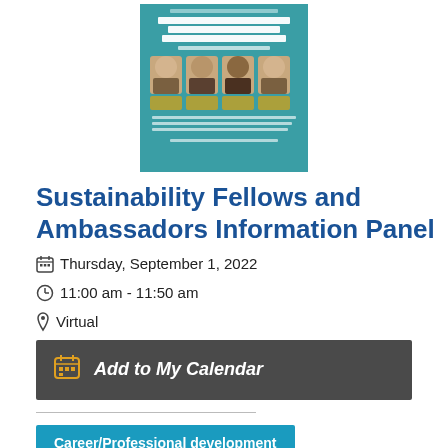[Figure (illustration): Event poster for Sustainability Fellows and Ambassadors Information Panel showing four panelists with a teal/blue background. Text on poster includes the event title, date September 1, 2022, and a registration link.]
Sustainability Fellows and Ambassadors Information Panel
Thursday, September 1, 2022
11:00 am - 11:50 am
Virtual
Add to My Calendar
Career/Professional development